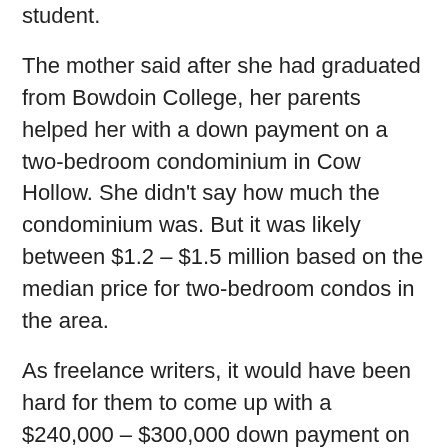student.
The mother said after she had graduated from Bowdoin College, her parents helped her with a down payment on a two-bedroom condominium in Cow Hollow. She didn't say how much the condominium was. But it was likely between $1.2 – $1.5 million based on the median price for two-bedroom condos in the area.
As freelance writers, it would have been hard for them to come up with a $240,000 – $300,000 down payment on their own in their early 20s. Therefore, the Bank Of Mom And Dad helped out.
She didn't sound embarrassed that her parents